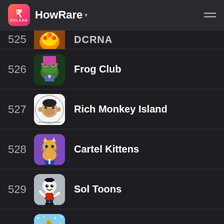HowRare
525 - (partial entry)
526 - Frog Club
527 - Rich Monkey Island
528 - Cartel Kittens
529 - Sol Toons
530 - Dukes of Folktown